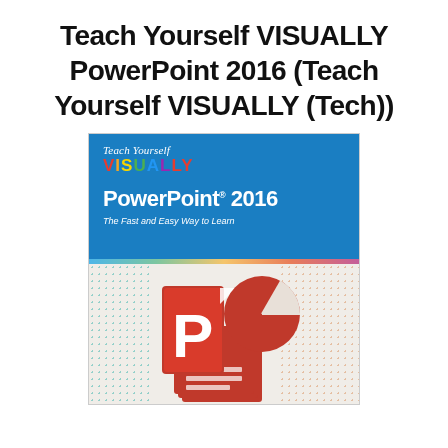Teach Yourself VISUALLY PowerPoint 2016 (Teach Yourself VISUALLY (Tech))
[Figure (illustration): Book cover for 'Teach Yourself VISUALLY PowerPoint 2016'. Blue upper section with 'Teach Yourself VISUALLY' in multicolor text and 'PowerPoint 2016' in white. Lower section shows PowerPoint logo (red P with document layers) and a pie chart icon on a light dotted background with a rainbow stripe divider.]